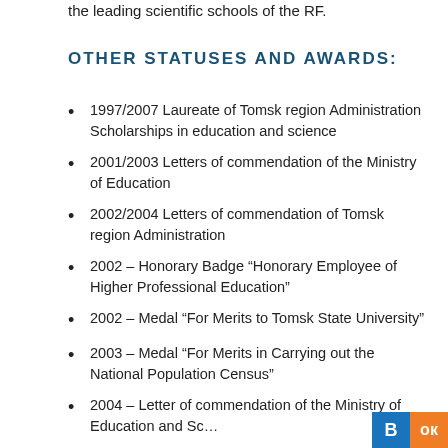the leading scientific schools of the RF.
OTHER STATUSES AND AWARDS:
1997/2007 Laureate of Tomsk region Administration Scholarships in education and science
2001/2003 Letters of commendation of the Ministry of Education
2002/2004 Letters of commendation of Tomsk region Administration
2002 – Honorary Badge “Honorary Employee of Higher Professional Education”
2002 – Medal “For Merits to Tomsk State University”
2003 – Medal “For Merits in Carrying out the National Population Census”
2004 – Letter of commendation of the Ministry of Education and Sc…